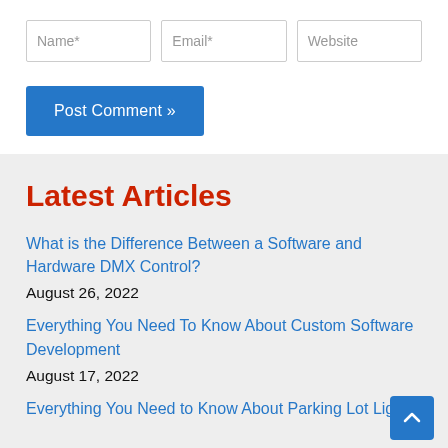[Figure (screenshot): Three form input fields: Name*, Email*, Website]
Post Comment »
Latest Articles
What is the Difference Between a Software and Hardware DMX Control?
August 26, 2022
Everything You Need To Know About Custom Software Development
August 17, 2022
Everything You Need to Know About Parking Lot Lights